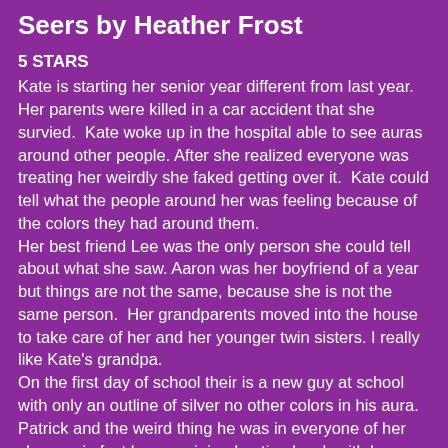Seers by Heather Frost
5 STARS
Kate is starting her senior year different from last year. Her parents were killed in a car accident that she survied.  Kate woke up in the hospital able to see auras around other people. After she realized everyone was treating her weirdly she faked getting over it.  Kate could tell what the people around her was feeling because of the colors they had around them.
Her best friend Lee was the only person she could tell about what she saw. Aaron was her boyfriend of a year but things are not the same, because she is not the same person.  Her grandparents moved into the house to take care of her and her younger twin sisters. I really like Kate's grandpa.
On the first day of school their is a new guy at school with only an outline of silver no other colors in his aura.  Patrick and the weird thing he was in everyone of her classes, in fact he even joined eating lunch with her friends at the same table. Also on the way to school she almost ran over a guy who had the same silver aura but Lee could not see him. Kate was a little scared and confused about what she had...